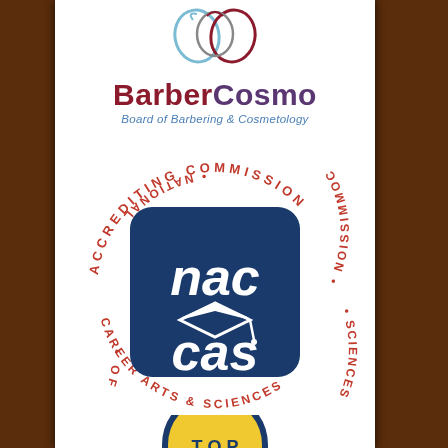[Figure (logo): BarberCosmo Board of Barbering & Cosmetology logo with decorative script monogram above in blue and red]
[Figure (logo): NACCAS logo - National Accrediting Commission of Career Arts & Sciences circular badge with dark blue rounded square containing 'nac cas' text and graduation cap icon]